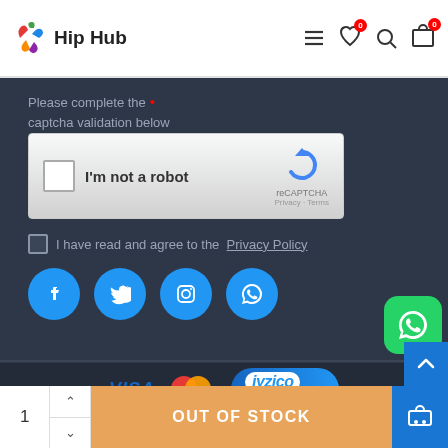[Figure (screenshot): Hip Hub website header with logo, hamburger menu, wishlist icon with 0 badge, search icon, and cart icon with 0 badge]
Please complete the captcha validation below
[Figure (other): reCAPTCHA widget with checkbox and 'I'm not a robot' text]
I have read and agree to the  Privacy Policy
[Figure (other): Social media icons: Facebook, Twitter, Instagram, WhatsApp in blue circles]
[Figure (other): Payment logos: VISA, Mastercard, iyzico ile Öde]
Copyright © 2021 - Hip Hub Store - Powered By Doğer
1   OUT OF STOCK